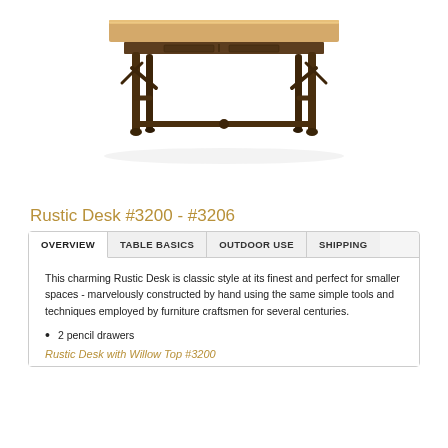[Figure (photo): A rustic wooden desk with a light pine top and dark brown twig/branch-style legs with decorative cross-supports, photographed on a white background.]
Rustic Desk #3200 - #3206
OVERVIEW  TABLE BASICS  OUTDOOR USE  SHIPPING
This charming Rustic Desk is classic style at its finest and perfect for smaller spaces - marvelously constructed by hand using the same simple tools and techniques employed by furniture craftsmen for several centuries.
2 pencil drawers
Rustic Desk with Willow Top #3200